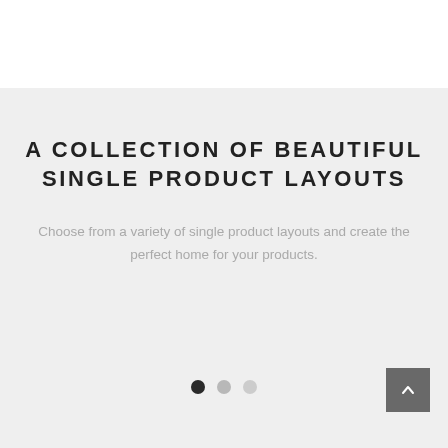A COLLECTION OF BEAUTIFUL SINGLE PRODUCT LAYOUTS
Choose from a variety of single product layouts and create the perfect home for your products.